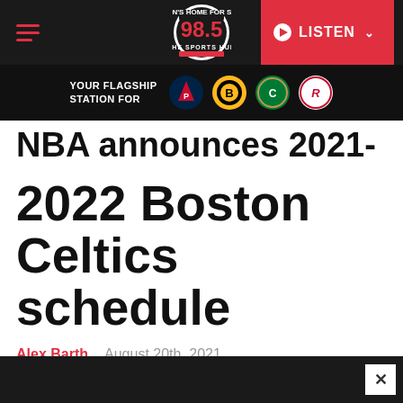98.5 The Sports Hub – YOUR FLAGSHIP STATION FOR [Patriots, Bruins, Celtics, Revolution logos] – LISTEN
NBA announces 2021-2022 Boston Celtics schedule
Alex Barth   August 20th, 2021
[Figure (screenshot): Social share buttons: Facebook, Twitter, Link]